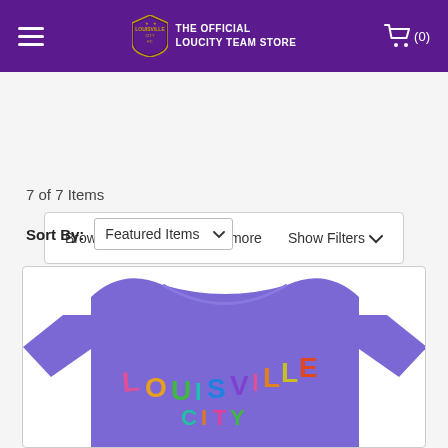THE OFFICIAL LOUCITY TEAM STORE
Browse by Brand, Color & more   Show Filters
7 of 7 Items
Sort By: Featured Items
[Figure (photo): Purple Louisville City FC t-shirt with rainbow LOUISVILLE CITY text on the front]